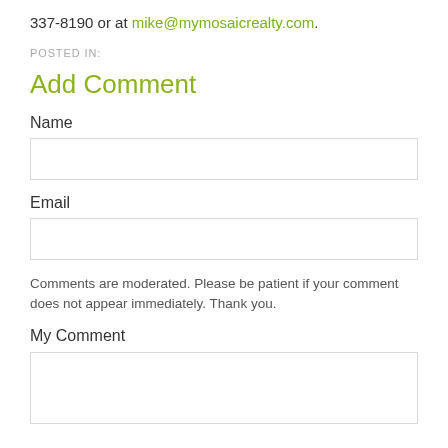337-8190 or at mike@mymosaicrealty.com.
POSTED IN:
Add Comment
Name
Email
Comments are moderated. Please be patient if your comment does not appear immediately. Thank you.
My Comment